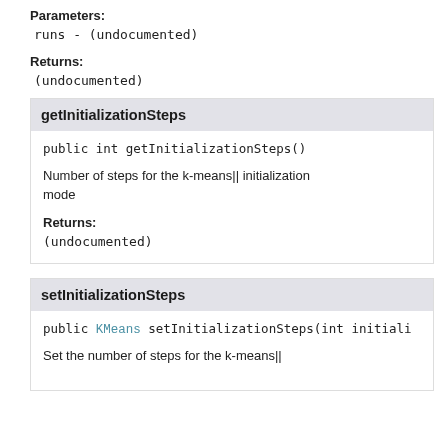Parameters:
runs - (undocumented)
Returns:
(undocumented)
getInitializationSteps
public int getInitializationSteps()
Number of steps for the k-means|| initialization mode
Returns:
(undocumented)
setInitializationSteps
public KMeans setInitializationSteps(int initiali
Set the number of steps for the k-means||